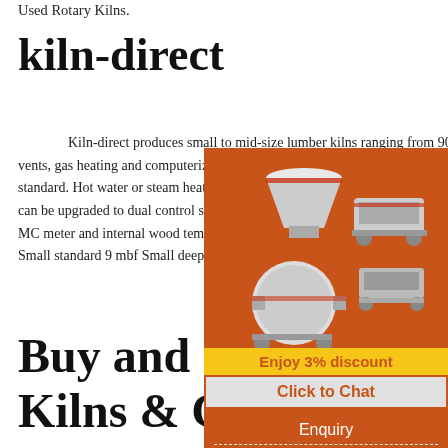Used Rotary Kilns.
kiln-direct
Kiln-direct produces small to mid-size lumber kilns ranging from 9000bf to 40000bf. Heat recovery vents, gas heating and computerized controls standard. Hot water or steam heating available can be upgraded to dual control system with MC meter and internal wood temperature sen... Small standard 9 mbf Small deep 13 ...
Buy and Sell Used Kilns & Calciners at Phoenix Equipment
Kilns & Calciners for Sale. Phoenix Equipment Global Buyer and Seller of New, Used and
[Figure (infographic): Orange advertisement banner with industrial machinery images (crusher, ball mill, conveyor), yellow 'Enjoy 3% discount' bar, 'Click to Chat' button, 'Enquiry' text, and email address limingjlmofen@sina.com]